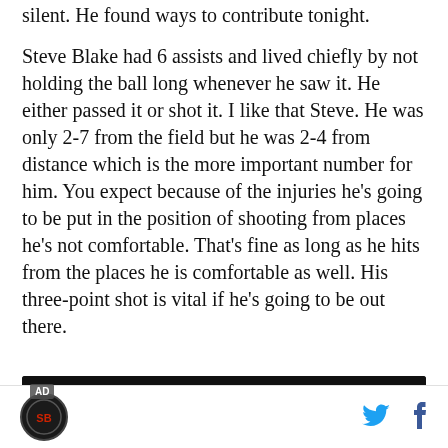silent. He found ways to contribute tonight.
Steve Blake had 6 assists and lived chiefly by not holding the ball long whenever he saw it. He either passed it or shot it. I like that Steve. He was only 2-7 from the field but he was 2-4 from distance which is the more important number for him. You expect because of the injuries he's going to be put in the position of shooting from places he's not comfortable. That's fine as long as he hits from the places he is comfortable as well. His three-point shot is vital if he's going to be out there.
[Figure (photo): Advertisement banner showing a dark background with stage lighting and a person, labeled AD]
SB Nation logo, Twitter share icon, Facebook share icon